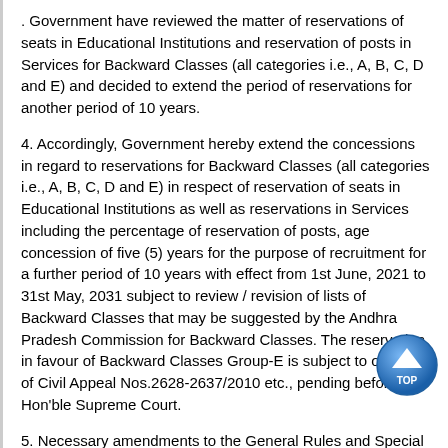. Government have reviewed the matter of reservations of seats in Educational Institutions and reservation of posts in Services for Backward Classes (all categories i.e., A, B, C, D and E) and decided to extend the period of reservations for another period of 10 years.
4. Accordingly, Government hereby extend the concessions in regard to reservations for Backward Classes (all categories i.e., A, B, C, D and E) in respect of reservation of seats in Educational Institutions as well as reservations in Services including the percentage of reservation of posts, age concession of five (5) years for the purpose of recruitment for a further period of 10 years with effect from 1st June, 2021 to 31st May, 2031 subject to review / revision of lists of Backward Classes that may be suggested by the Andhra Pradesh Commission for Backward Classes. The reservation in favour of Backward Classes Group-E is subject to outcome of Civil Appeal Nos.2628-2637/2010 etc., pending before the Hon'ble Supreme Court.
5. Necessary amendments to the General Rules and Special Rules shall be issued by the concerned Administrative Departments separately.
6. All the Departments of Secretariat and Heads of Departments are